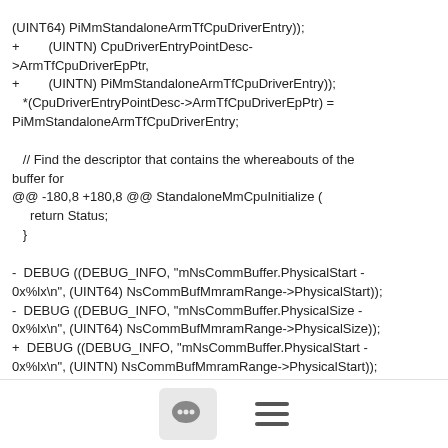(UINT64) PiMmStandaloneArmTfCpuDriverEntry));
+        (UINTN) CpuDriverEntryPointDesc->ArmTfCpuDriverEpPtr,
+        (UINTN) PiMmStandaloneArmTfCpuDriverEntry));
  *(CpuDriverEntryPointDesc->ArmTfCpuDriverEpPtr) = PiMmStandaloneArmTfCpuDriverEntry;

  // Find the descriptor that contains the whereabouts of the buffer for
@@ -180,8 +180,8 @@ StandaloneMmCpuInitialize (
    return Status;
  }

-  DEBUG ((DEBUG_INFO, "mNsCommBuffer.PhysicalStart - 0x%lx\n", (UINT64) NsCommBufMmramRange->PhysicalStart));
-  DEBUG ((DEBUG_INFO, "mNsCommBuffer.PhysicalSize - 0x%lx\n", (UINT64) NsCommBufMmramRange->PhysicalSize));
+  DEBUG ((DEBUG_INFO, "mNsCommBuffer.PhysicalStart - 0x%lx\n", (UINTN) NsCommBufMmramRange->PhysicalStart));
+  DEBUG ((DEBUG_INFO, "mNsCommBuffer.PhysicalSize -
[Figure (other): Footer bar with chat bubble icon button and hamburger menu icon]